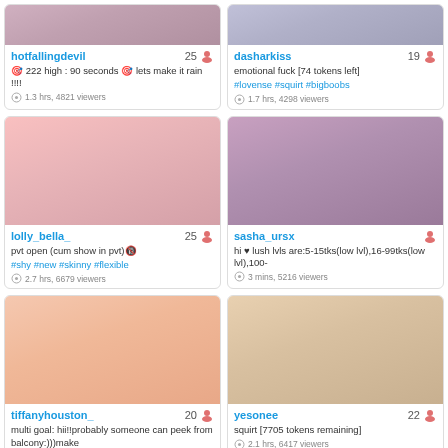[Figure (screenshot): Thumbnail image for hotfallingdevil stream]
hotfallingdevil 25
🎯 222 high : 90 seconds 🎯 lets make it rain !!!!
1.3 hrs, 4821 viewers
[Figure (screenshot): Thumbnail image for dasharkiss stream]
dasharkiss 19
emotional fuck [74 tokens left]
#lovense #squirt #bigboobs
1.7 hrs, 4298 viewers
[Figure (photo): Thumbnail image for lolly_bella_ stream]
lolly_bella_ 25
pvt open (cum show in pvt)🔞
#shy #new #skinny #flexible
2.7 hrs, 6679 viewers
[Figure (photo): Thumbnail image for sasha_ursx stream]
sasha_ursx
hi ♥ lush lvls are:5-15tks(low lvl),16-99tks(low lvl),100-
3 mins, 5216 viewers
[Figure (photo): Thumbnail image for tiffanyhouston_ stream]
tiffanyhouston_ 20
multi goal: hii!!probably someone can peek from balcony:)))make
37 mins, 4853 viewers
[Figure (photo): Thumbnail image for yesonee stream]
yesonee 22
squirt [7705 tokens remaining]
2.1 hrs, 6417 viewers